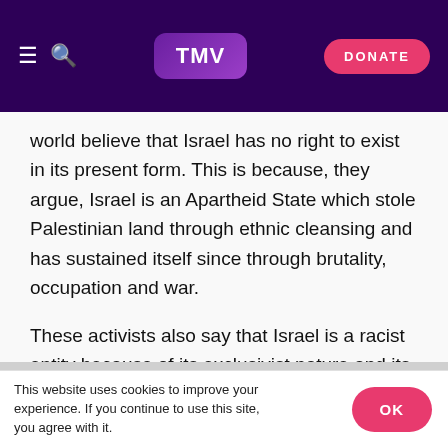TMV | DONATE
world believe that Israel has no right to exist in its present form. This is because, they argue, Israel is an Apartheid State which stole Palestinian land through ethnic cleansing and has sustained itself since through brutality, occupation and war.
These activists also say that Israel is a racist entity because of its exclusivist nature and its treatment of non-Jews. And they would prefer Israel to be replaced by a secular, democratic or Islamic state.
This website uses cookies to improve your experience. If you continue to use this site, you agree with it. OK